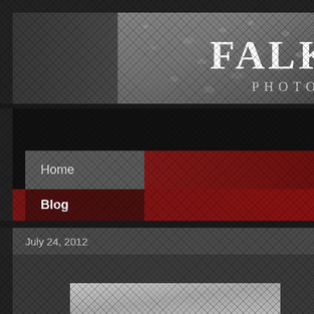[Figure (screenshot): Website header banner with water droplets texture on dark gray background. Shows 'FALK' in large white serif font and 'PHOTO' in smaller white uppercase text on the right side.]
FALK
PHOTO
Home
Blog
July 24, 2012
The iCamera (Nokia 808 Pureview) Part I
[Figure (photo): Partial view of a gray-toned thumbnail image at the bottom of the page]